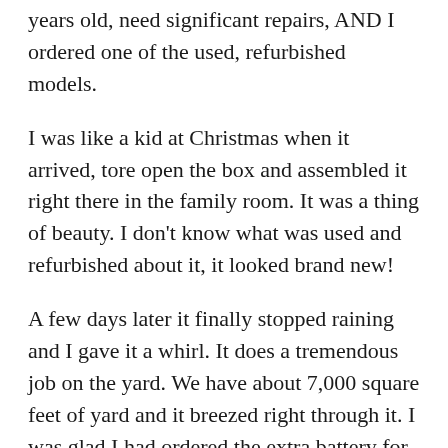years old, need significant repairs, AND I ordered one of the used, refurbished models.
I was like a kid at Christmas when it arrived, tore open the box and assembled it right there in the family room. It was a thing of beauty. I don't know what was used and refurbished about it, it looked brand new!
A few days later it finally stopped raining and I gave it a whirl. It does a tremendous job on the yard. We have about 7,000 square feet of yard and it breezed right through it. I was glad I had ordered the extra battery for trimming, but to mow the yard itself I can do it with one charge. The trimmer attachment does take a little getting used to, but once I got the hang of